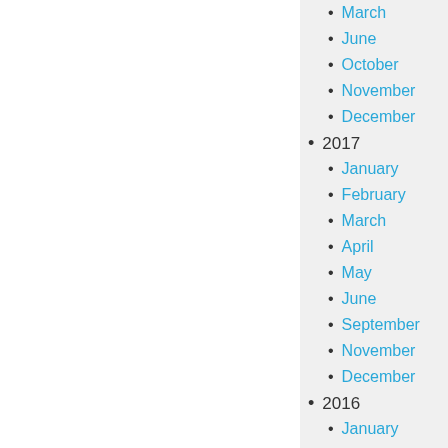March
June
October
November
December
2017
January
February
March
April
May
June
September
November
December
2016
January
March
May